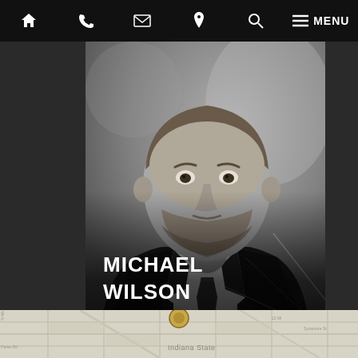Navigation bar with icons: home, phone, email, location, search, menu — MENU
[Figure (photo): Black and white professional headshot of Michael Wilson, a young man with a beard wearing a dark suit and tie, with a diagonal decorative line across the lower portion of the image. Name overlay reads MICHAEL WILSON, ESQUIRE.]
MICHAEL WILSON
ESQUIRE
[Figure (map): Street map showing Indiana State area, with a gold/brown circular location marker pin visible at the bottom center.]